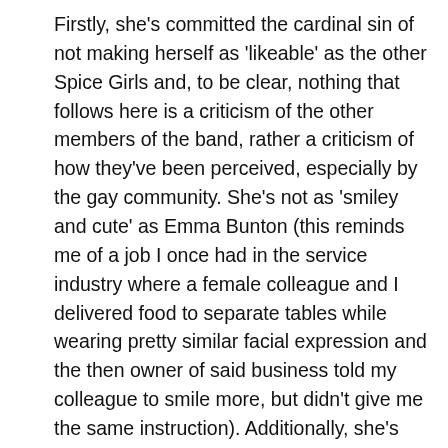Firstly, she's committed the cardinal sin of not making herself as 'likeable' as the other Spice Girls and, to be clear, nothing that follows here is a criticism of the other members of the band, rather a criticism of how they've been perceived, especially by the gay community. She's not as 'smiley and cute' as Emma Bunton (this reminds me of a job I once had in the service industry where a female colleague and I delivered food to separate tables while wearing pretty similar facial expression and the then owner of said business told my colleague to smile more, but didn't give me the same instruction). Additionally, she's not treated us to stage shows with 'Sink The Pink', like Melanie C at 'Mighty Hoopla' in 2018, and she doesn't have the appeal of Geri or the troubled personal life of Mel B. She's got on with on her own thing without seeing the need to make herself 'likeable' or 'accessible', which is clearly [sarcasm] completely out